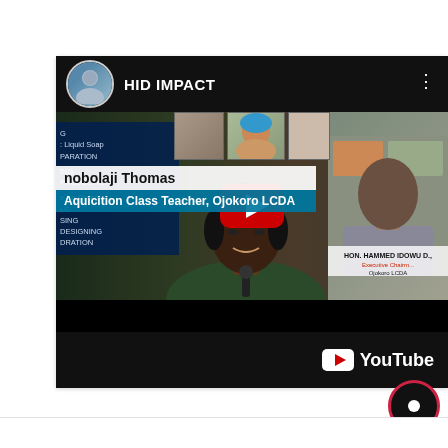[Figure (screenshot): YouTube video thumbnail showing a woman being interviewed. The video is titled 'HID IMPACT' and features 'nobolaji Thomas, Aquicition Class Teacher, Ojokoro LCDA'. A red YouTube play button is centered on the video. The channel avatar is shown top-left. Bottom-right shows the YouTube logo. A circular chat/notification icon appears at bottom-right outside the video frame.]